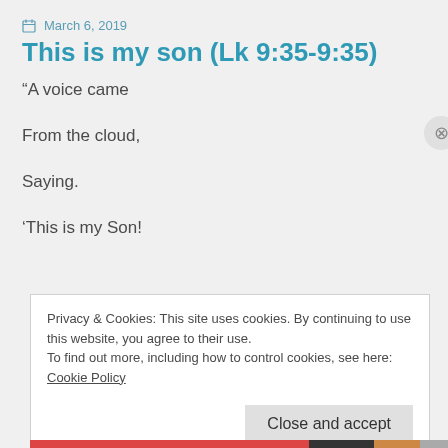March 6, 2019
This is my son (Lk 9:35-9:35)
“A voice came

From the cloud,

Saying.

‘This is my Son!
Privacy & Cookies: This site uses cookies. By continuing to use this website, you agree to their use.
To find out more, including how to control cookies, see here: Cookie Policy